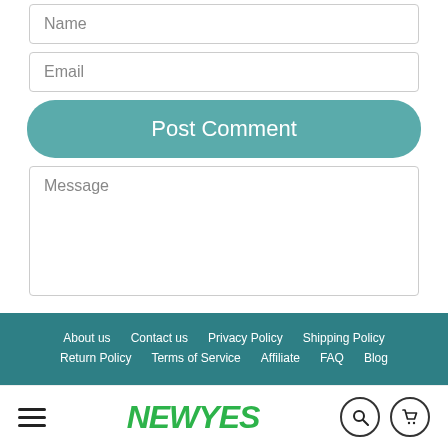Name
Email
Post Comment
Message
About us   Contact us   Privacy Policy   Shipping Policy   Return Policy   Terms of Service   Affiliate   FAQ   Blog
[Figure (logo): NEWYES logo in green italic bold text with hamburger menu icon, search icon, and cart icon in bottom navigation bar]